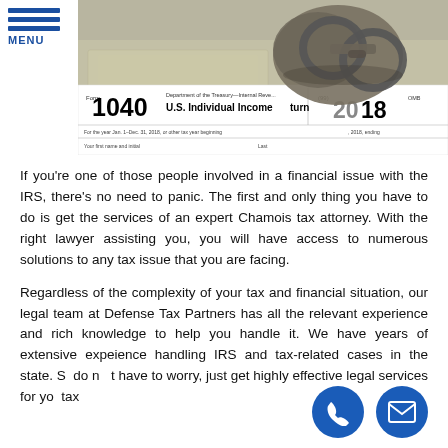MENU
[Figure (photo): Photo of IRS Form 1040 U.S. Individual Income Tax Return 2018 with handcuffs placed on top, implying tax fraud or legal trouble]
If you’re one of those people involved in a financial issue with the IRS, there’s no need to panic. The first and only thing you have to do is get the services of an expert Chamois tax attorney. With the right lawyer assisting you, you will have access to numerous solutions to any tax issue that you are facing.
Regardless of the complexity of your tax and financial situation, our legal team at Defense Tax Partners has all the relevant experience and rich knowledge to help you handle it. We have years of extensive experience handling IRS and tax-related cases in the state. So do not have to worry, just get highly effective legal services for your tax